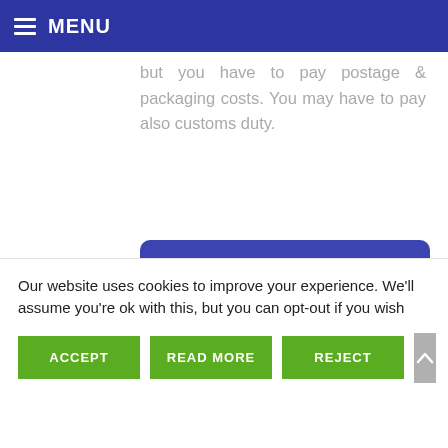MENU
but you have to pay postage & packaging costs. You may have to pay also customs duty.
Learn more
[Figure (other): SEEMO book cover — blue background with white small text on the left side and 'SEEMO Priručnik Sigurnosne mreže' on the right side]
Our website uses cookies to improve your experience. We'll assume you're ok with this, but you can opt-out if you wish
ACCEPT
READ MORE
REJECT